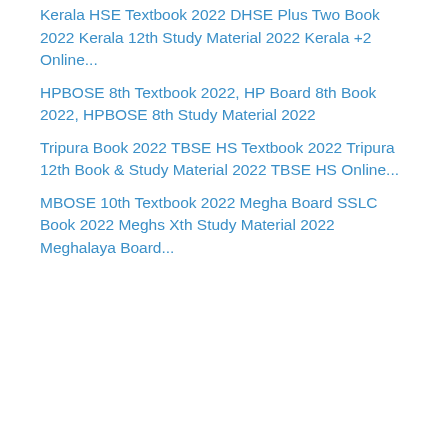Two Online Lesson & Book...
Kerala HSE Textbook 2022 DHSE Plus Two Book 2022 Kerala 12th Study Material 2022 Kerala +2 Online...
HPBOSE 8th Textbook 2022, HP Board 8th Book 2022, HPBOSE 8th Study Material 2022
Tripura Book 2022 TBSE HS Textbook 2022 Tripura 12th Book & Study Material 2022 TBSE HS Online...
MBOSE 10th Textbook 2022 Megha Board SSLC Book 2022 Meghs Xth Study Material 2022 Meghalaya Board...